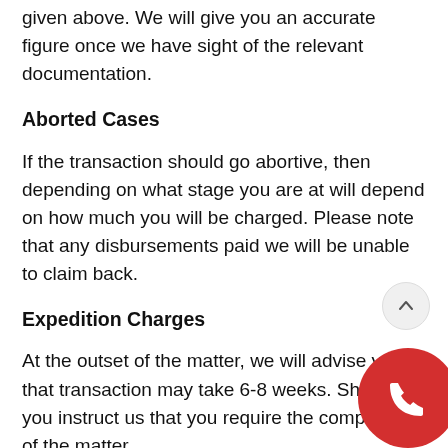given above. We will give you an accurate figure once we have sight of the relevant documentation.
Aborted Cases
If the transaction should go abortive, then depending on what stage you are at will depend on how much you will be charged. Please note that any disbursements paid we will be unable to claim back.
Expedition Charges
At the outset of the matter, we will advise you that transaction may take 6-8 weeks. Should you instruct us that you require the completion of the matter